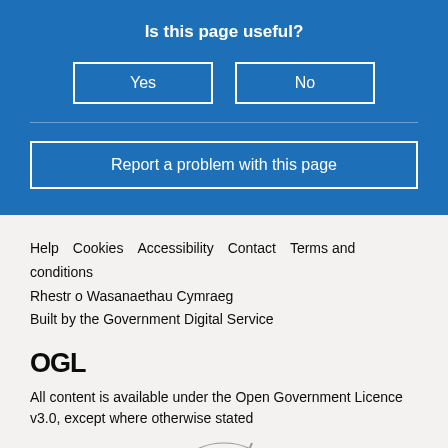Is this page useful?
Yes
No
Report a problem with this page
Help  Cookies  Accessibility  Contact  Terms and conditions
Rhestr o Wasanaethau Cymraeg
Built by the Government Digital Service
[Figure (logo): OGL logo text in bold black]
All content is available under the Open Government Licence v3.0, except where otherwise stated
[Figure (logo): UK Government Royal Coat of Arms crown logo]